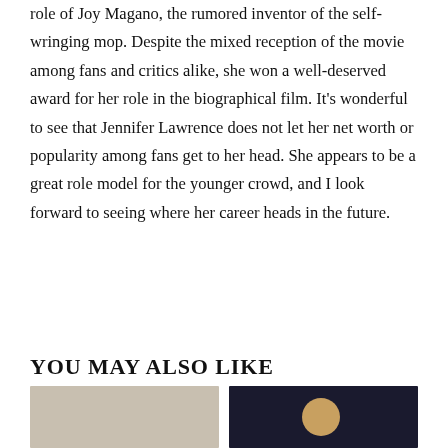role of Joy Magano, the rumored inventor of the self-wringing mop. Despite the mixed reception of the movie among fans and critics alike, she won a well-deserved award for her role in the biographical film. It's wonderful to see that Jennifer Lawrence does not let her net worth or popularity among fans get to her head. She appears to be a great role model for the younger crowd, and I look forward to seeing where her career heads in the future.
YOU MAY ALSO LIKE
[Figure (photo): Photo thumbnail on the left side of 'You May Also Like' section]
[Figure (photo): Photo thumbnail on the right side of 'You May Also Like' section]